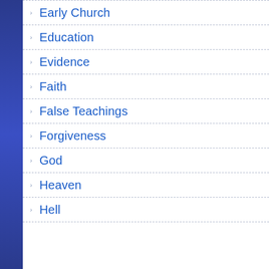Early Church
Education
Evidence
Faith
False Teachings
Forgiveness
God
Heaven
Hell